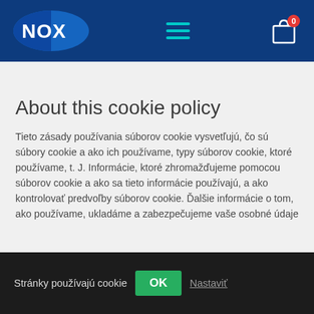[Figure (logo): NOX logo – white text on blue oval with dark blue background header bar]
About this cookie policy
Tieto zásady používania súborov cookie vysvetľujú, čo sú súbory cookie a ako ich používame, typy súborov cookie, ktoré používame, t. J. Informácie, ktoré zhromažďujeme pomocou súborov cookie a ako sa tieto informácie používajú, a ako kontrolovať predvoľby súborov cookie. Ďalšie informácie o tom, ako používame, ukladáme a zabezpečujeme vaše osobné údaje nájdete v našich zásadách ochrany osobných údajov.
Stránky používajú cookie  OK  Nastaviť